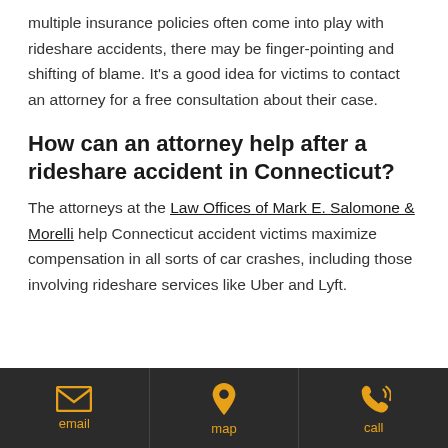multiple insurance policies often come into play with rideshare accidents, there may be finger-pointing and shifting of blame. It's a good idea for victims to contact an attorney for a free consultation about their case.
How can an attorney help after a rideshare accident in Connecticut?
The attorneys at the Law Offices of Mark E. Salomone & Morelli help Connecticut accident victims maximize compensation in all sorts of car crashes, including those involving rideshare services like Uber and Lyft.
email | map | call